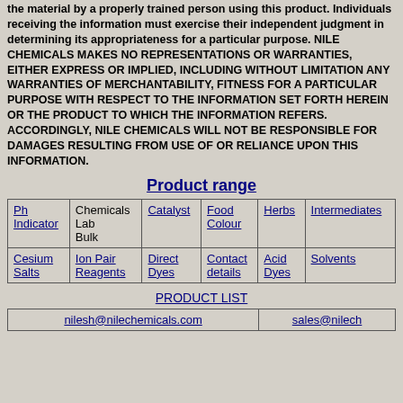the material by a properly trained person using this product. Individuals receiving the information must exercise their independent judgment in determining its appropriateness for a particular purpose. NILE CHEMICALS MAKES NO REPRESENTATIONS OR WARRANTIES, EITHER EXPRESS OR IMPLIED, INCLUDING WITHOUT LIMITATION ANY WARRANTIES OF MERCHANTABILITY, FITNESS FOR A PARTICULAR PURPOSE WITH RESPECT TO THE INFORMATION SET FORTH HEREIN OR THE PRODUCT TO WHICH THE INFORMATION REFERS. ACCORDINGLY, NILE CHEMICALS WILL NOT BE RESPONSIBLE FOR DAMAGES RESULTING FROM USE OF OR RELIANCE UPON THIS INFORMATION.
Product range
| Ph Indicator | Chemicals Lab Bulk | Catalyst | Food Colour | Herbs | Intermediates |
| Cesium Salts | Ion Pair Reagents | Direct Dyes | Contact details | Acid Dyes | Solvents |
PRODUCT LIST
| nilesh@nilechemicals.com | sales@nilechem... |